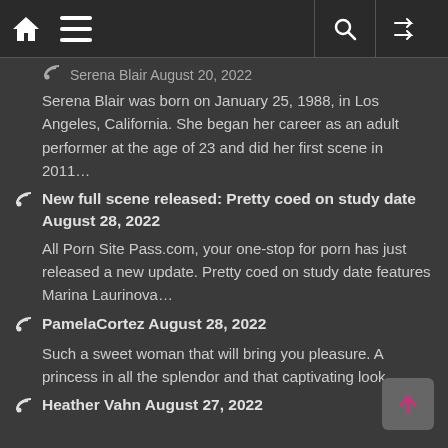Navigation bar with home, menu, search, and shuffle icons
Serena Blair August 20, 2022
Serena Blair was born on January 25, 1988, in Los Angeles, California. She began her career as an adult performer at the age of 23 and did her first scene in 2011…
New full scene released: Pretty coed on study date August 28, 2022
All Porn Site Pass.com, your one-stop for porn has just released a new update. Pretty coed on study date features Marina Laurinova…
PamelaCortez August 28, 2022
Such a sweet woman that will bring you pleasure. A princess in all the splendor and that captivating look…
Heather Vahn August 27, 2022